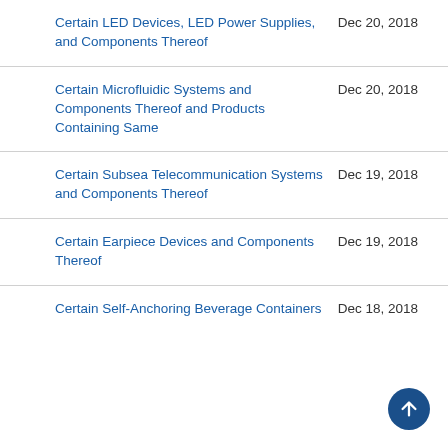Certain LED Devices, LED Power Supplies, and Components Thereof	Dec 20, 2018
Certain Microfluidic Systems and Components Thereof and Products Containing Same	Dec 20, 2018
Certain Subsea Telecommunication Systems and Components Thereof	Dec 19, 2018
Certain Earpiece Devices and Components Thereof	Dec 19, 2018
Certain Self-Anchoring Beverage Containers	Dec 18, 2018